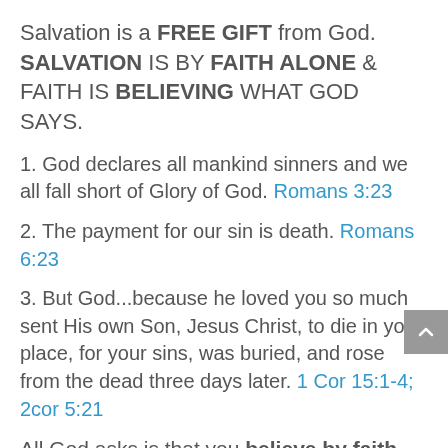Salvation is a FREE GIFT from God. SALVATION IS BY FAITH ALONE & FAITH IS BELIEVING WHAT GOD SAYS.
1. God declares all mankind sinners and we all fall short of Glory of God. Romans 3:23
2. The payment for our sin is death. Romans 6:23
3. But God...because he loved you so much sent His own Son, Jesus Christ, to die in your place, for your sins, was buried, and rose from the dead three days later. 1 Cor 15:1-4; 2cor 5:21
All God asks is that you believe by faith alone in 1, 2, & 3. That you're a sinner.